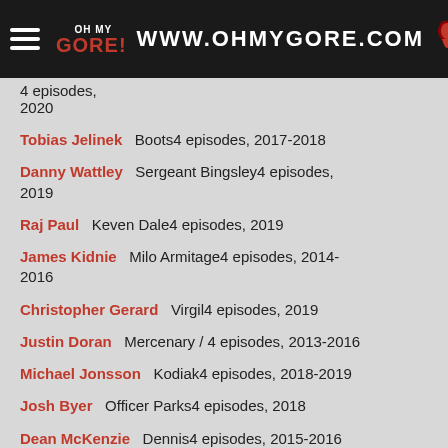www.ohmygore.com
[partial] ...4 episodes, 2020
Tobias Jelinek   Boots4 episodes, 2017-2018
Danny Wattley   Sergeant Bingsley4 episodes, 2019
Raj Paul   Keven Dale4 episodes, 2019
James Kidnie   Milo Armitage4 episodes, 2014-2016
Christopher Gerard   Virgil4 episodes, 2019
Justin Doran   Mercenary / 4 episodes, 2013-2016
Michael Jonsson   Kodiak4 episodes, 2018-2019
Josh Byer   Officer Parks4 episodes, 2018
Dean McKenzie   Dennis4 episodes, 2015-2016
Taras Kostyuk   Gennady / 4 episodes, 2013-2017
Ron Selmour   The Butcher4 episodes, 2013-2014